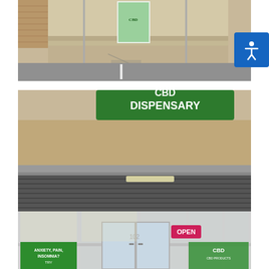[Figure (photo): Outdoor photo of a storefront area showing a concrete sidewalk/entrance with two metal stanchion poles holding banners/signage for CBD products. There is a brick or stone building facade visible in the background. An accessibility icon button (blue square with white person figure) is overlaid in the top-right corner.]
[Figure (photo): Photo of a CBD Dispensary storefront. A green sign reads 'CBD DISPENSARY' above a modern retail entrance. The store has large glass windows and doors with the number '102'. Green window clings advertise 'ANXIETY, PAIN, INSOMNIA? TRY CBD'. A neon 'OPEN' sign is visible inside. CBD product branding visible on windows.]